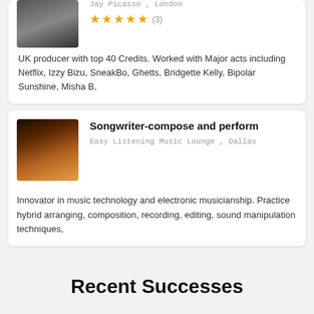[Figure (photo): Black and white photo of a person, partially cropped at top]
Jay Picasso , London
★★★★★ (3)
UK producer with top 40 Credits. Worked with Major acts including Netflix, Izzy Bizu, SneakBo, Ghetts, Bridgette Kelly, Bipolar Sunshine, Misha B,
[Figure (photo): Woman holding lights, warm orange tones, music artist photo]
Songwriter-compose and perform
Easy Listening Music Lounge , Dallas
Innovator in music technology and electronic musicianship. Practice hybrid arranging, composition, recording, editing, sound manipulation techniques,
Recent Successes